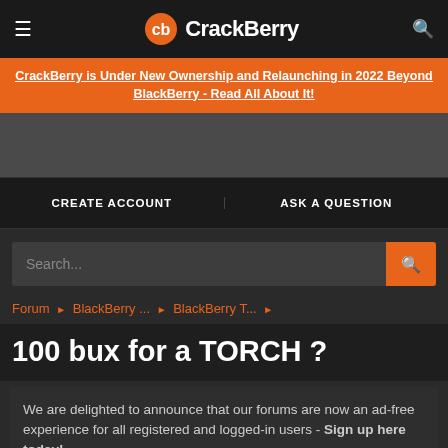CrackBerry
CrackBerry is Under New Ownership and Relaunching in 2022 Beyond BlackBerry - Read All About It!
CREATE ACCOUNT    ASK A QUESTION
Search...
Forum › BlackBerry ... › BlackBerry T... ›
100 bux for a TORCH ?
We are delighted to announce that our forums are now an ad-free experience for all registered and logged-in users - Sign up here today!